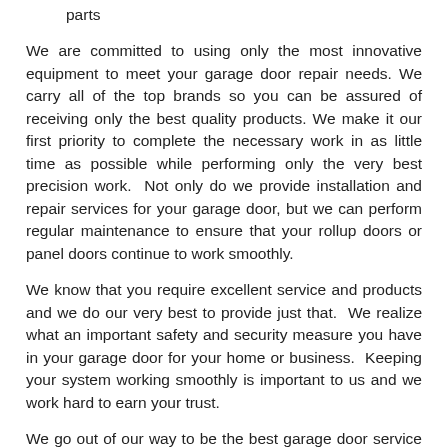parts
We are committed to using only the most innovative equipment to meet your garage door repair needs. We carry all of the top brands so you can be assured of receiving only the best quality products. We make it our first priority to complete the necessary work in as little time as possible while performing only the very best precision work.  Not only do we provide installation and repair services for your garage door, but we can perform regular maintenance to ensure that your rollup doors or panel doors continue to work smoothly.
We know that you require excellent service and products and we do our very best to provide just that.  We realize what an important safety and security measure you have in your garage door for your home or business.  Keeping your system working smoothly is important to us and we work hard to earn your trust.
We go out of our way to be the best garage door service company in the business.  We have convenient service hours so that we are there when you need us.  We are proud of our friendly and knowledgeable customer support staff, who readily answers your questions to address your repair needs.  We employ